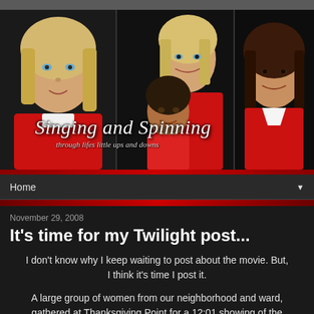[Figure (photo): Blog header with three photos of girls/women in red clothing on dark background, with blog title overlay]
Singing and Spinning
through lifes little ups and downs
Home ▼
November 29, 2008
It's time for my Twilight post...
I don't know why I keep waiting to post about the movie. But, I think it's time I post it.
A large group of women from our neighborhood and ward, gathered at Thanksgiving Point for a 12:01 showing of the